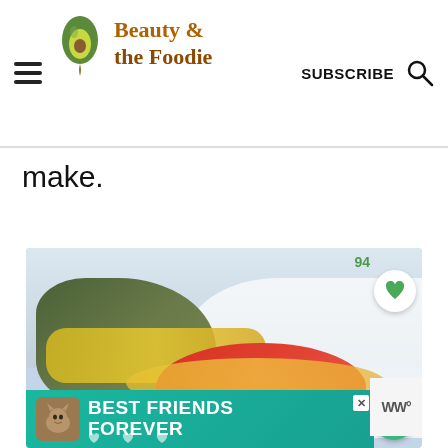Beauty & the Foodie — SUBSCRIBE
make.
[Figure (photo): Close-up food photo showing stuffed bell peppers (green and red) filled with a yellow cheese sauce, on a white background. A cat food advertisement banner is visible at the bottom reading 'BEST FRIENDS FOREVER'.]